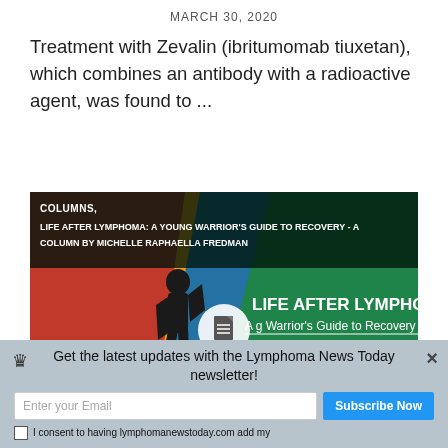MARCH 30, 2020
Treatment with Zevalin (ibritumomab tiuxetan), which combines an antibody with a radioactive agent, was found to ...
[Figure (illustration): Promotional banner image for 'Life After Lymphoma: A Young Warrior's Guide to Recovery — A Column by Michelle Raphaella Fredman'. Features a dark silhouette of a person against a colorful red, blue, and green background with bold white text.]
We use cookies to enhance your experience on our website.
Get the latest updates with the Lymphoma News Today newsletter!
Enter your Email
Subscribe Now
I consent to having lymphomanewstoday.com add my